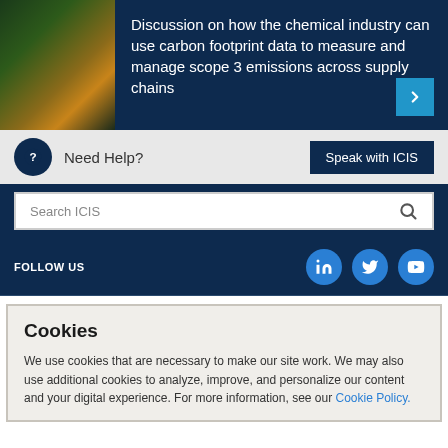[Figure (photo): Aerial photo of landscape with fields and roads on the left side of the hero banner]
Discussion on how the chemical industry can use carbon footprint data to measure and manage scope 3 emissions across supply chains
Need Help?
Speak with ICIS
Search ICIS
FOLLOW US
Cookies
We use cookies that are necessary to make our site work. We may also use additional cookies to analyze, improve, and personalize our content and your digital experience. For more information, see our Cookie Policy.